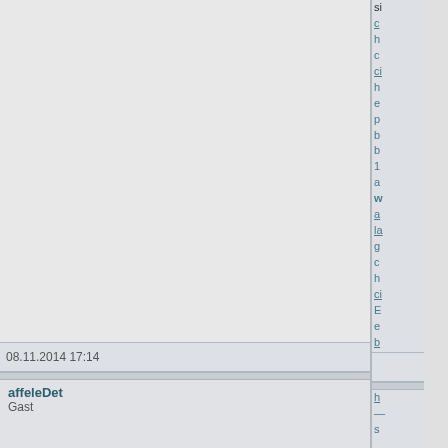08.11.2014 17:14
affeleDet
Gast
si c h cl h e p b b 1 a w a la g c h ci E e b e h p 1 u h R e in